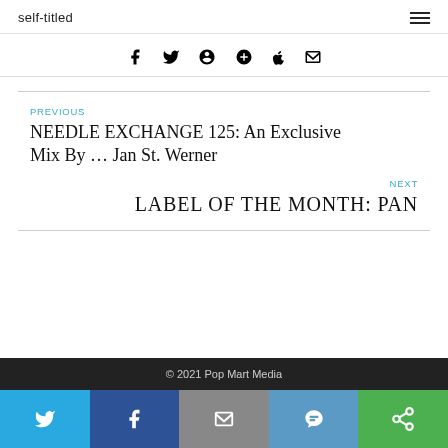self-titled
[Figure (other): Social share icons: Facebook, Twitter, Pinterest, Google+, Tumblr, Email]
PREVIOUS
NEEDLE EXCHANGE 125: An Exclusive Mix By … Jan St. Werner
NEXT
LABEL OF THE MONTH: PAN
© 2021 Pop Mart Media
[Figure (other): Bottom share bar with Twitter, Facebook, Email, SMS, and another share icon buttons]